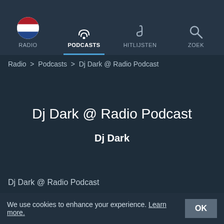RADIO | PODCASTS | HITLIJSTEN | ZOEK
Radio > Podcasts > Dj Dark @ Radio Podcast
Dj Dark @ Radio Podcast
Dj Dark
Dj Dark @ Radio Podcast
We use cookies to enhance your experience. Learn more. OK